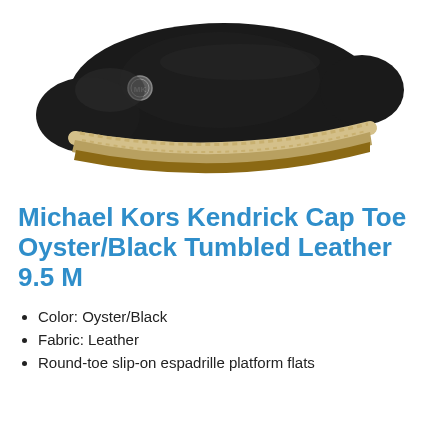[Figure (photo): A black leather espadrille flat shoe with jute rope sole trim and a silver Michael Kors logo medallion on the toe, photographed on a white background from a side/top angle.]
Michael Kors Kendrick Cap Toe Oyster/Black Tumbled Leather 9.5 M
Color: Oyster/Black
Fabric: Leather
Round-toe slip-on espadrille platform flats